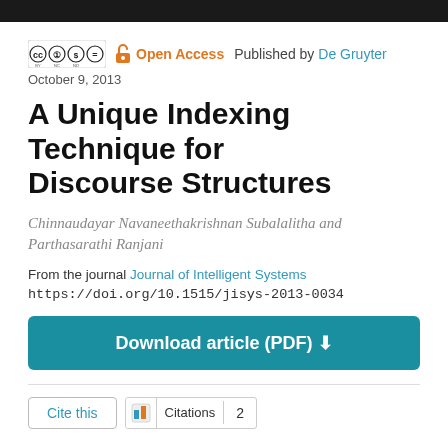[Figure (logo): Creative Commons license badge (CC BY NC ND) and open lock icon, Open Access label, Published by De Gruyter]
October 9, 2013
A Unique Indexing Technique for Discourse Structures
Chinnaudayar Navaneethakrishnan Subalalitha and Parthasarathi Ranjani
From the journal Journal of Intelligent Systems
https://doi.org/10.1515/jisys-2013-0034
Download article (PDF) ⬇
Cite this   Citations   2